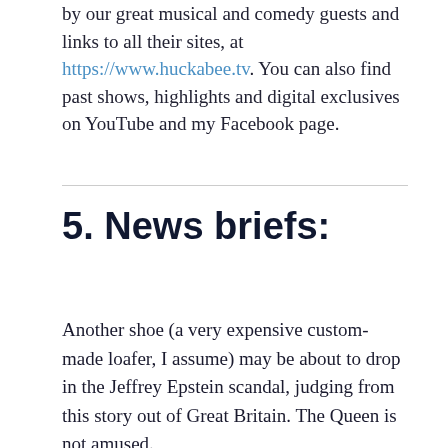by our great musical and comedy guests and links to all their sites, at https://www.huckabee.tv. You can also find past shows, highlights and digital exclusives on YouTube and my Facebook page.
5. News briefs:
Another shoe (a very expensive custom-made loafer, I assume) may be about to drop in the Jeffrey Epstein scandal, judging from this story out of Great Britain. The Queen is not amused.